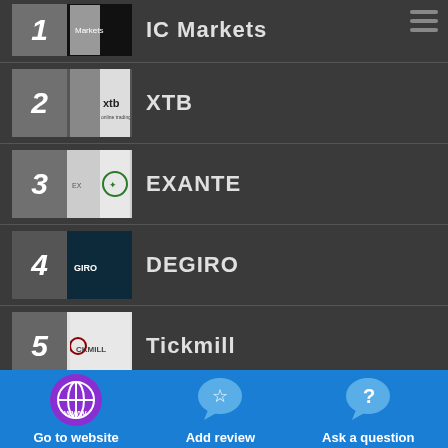1 IC Markets
2 XTB
3 EXANTE
4 DEGIRO
5 Tickmill
Go to website | Add review | Ask a question